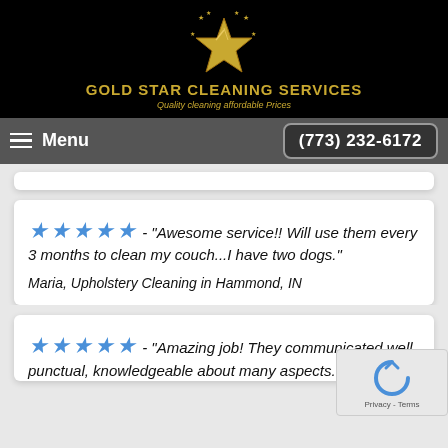[Figure (logo): Gold Star Cleaning Services logo with a golden star and small stars around it, company name and tagline below]
Menu  (773) 232-6172
★★★★★ - "Awesome service!! Will use them every 3 months to clean my couch...I have two dogs."
Maria, Upholstery Cleaning in Hammond, IN
★★★★★ - "Amazing job! They communicated well, punctual, knowledgeable about many aspects...